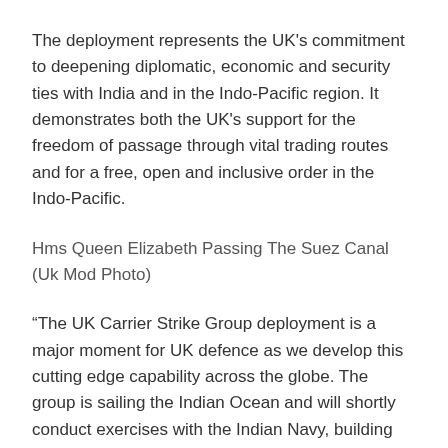The deployment represents the UK's commitment to deepening diplomatic, economic and security ties with India and in the Indo-Pacific region. It demonstrates both the UK's support for the freedom of passage through vital trading routes and for a free, open and inclusive order in the Indo-Pacific.
Hms Queen Elizabeth Passing The Suez Canal (Uk Mod Photo)
“The UK Carrier Strike Group deployment is a major moment for UK defence as we develop this cutting edge capability across the globe. The group is sailing the Indian Ocean and will shortly conduct exercises with the Indian Navy, building on our already strong partnership with an important ally and friend.” said UK Defence Secretary Ben Wallace.